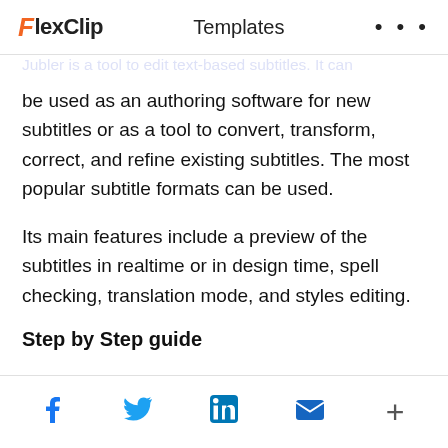FlexClip  Templates
Jubler is a tool to edit text-based subtitles. It can be used as an authoring software for new subtitles or as a tool to convert, transform, correct, and refine existing subtitles. The most popular subtitle formats can be used.
Its main features include a preview of the subtitles in realtime or in design time, spell checking, translation mode, and styles editing.
Step by Step guide
Step 1  Download the file from the official website
Facebook, Twitter, LinkedIn, Email, More